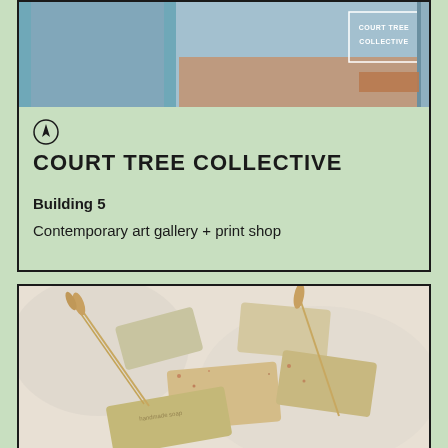[Figure (photo): Photo of Court Tree Collective storefront with glass doors showing the name 'Court Tree Collective' in white letters]
[Figure (other): Navigation/location arrow icon in a circle]
COURT TREE COLLECTIVE
Building 5
Contemporary art gallery + print shop
[Figure (photo): Photo of artisan soap bars with wheat stalks on white fabric background]